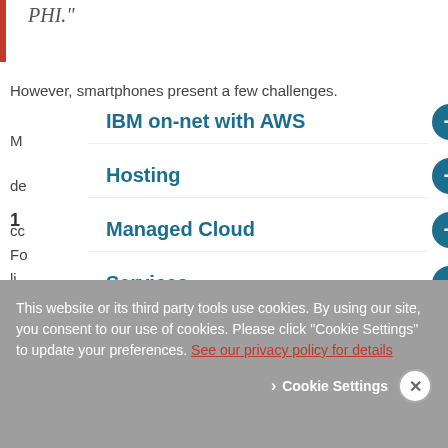PHI."
However, smartphones present a few challenges. M... de... co...
1
Fo... li...
IBM on-net with AWS
Hosting
Managed Cloud
Services
This website or its third party tools use cookies. By using our site, you consent to our use of cookies. Please click "Cookie Settings" to update your preferences. See our privacy policy for details